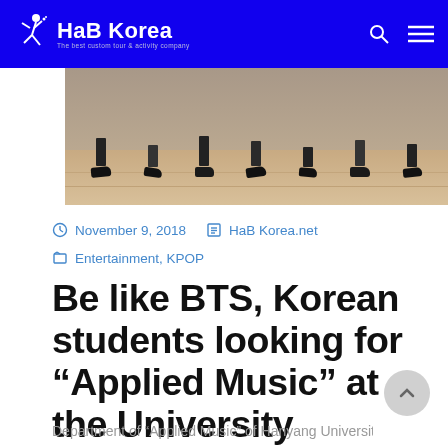HaB Korea — The best custom tour & activity company
[Figure (photo): Dancers' feet on a wooden dance studio floor, multiple people dancing in a row]
November 9, 2018   HaB Korea.net
Entertainment, KPOP
Be like BTS, Korean students looking for “Applied Music” at the University
Department of “Applied Music” of Hanyang University